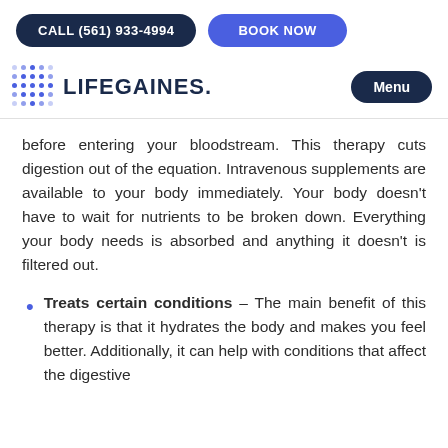CALL (561) 933-4994   BOOK NOW
[Figure (logo): LifeGaines logo with dot grid icon and Menu button]
before entering your bloodstream. This therapy cuts digestion out of the equation. Intravenous supplements are available to your body immediately. Your body doesn't have to wait for nutrients to be broken down. Everything your body needs is absorbed and anything it doesn't is filtered out.
Treats certain conditions – The main benefit of this therapy is that it hydrates the body and makes you feel better. Additionally, it can help with conditions that affect the digestive